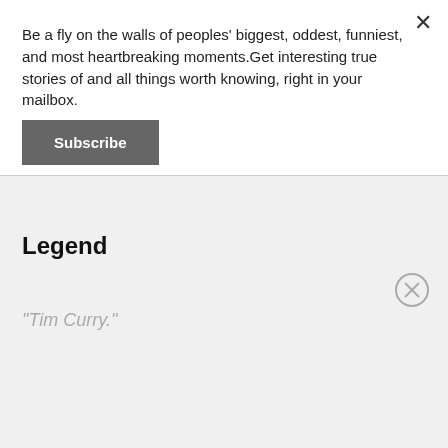Be a fly on the walls of peoples' biggest, oddest, funniest, and most heartbreaking moments.Get interesting true stories of and all things worth knowing, right in your mailbox.
Subscribe
Legend
"Tim Curry."